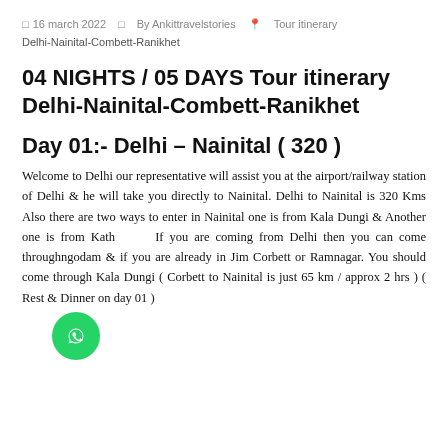□ 16 march 2022   □ By Ankittravelstories   ⚲ Tour itinerary Delhi-Nainital-Combett-Ranikhet
04 NIGHTS / 05 DAYS Tour itinerary Delhi-Nainital-Combett-Ranikhet
Day 01:- Delhi – Nainital ( 320 )
Welcome to Delhi our representative will assist you at the airport/railway station of Delhi & he will take you directly to Nainital. Delhi to Nainital is 320 Kms Also there are two ways to enter in Nainital one is from Kala Dungi & Another one is from Kath... If you are coming from Delhi then you can come through ...ngodam & if you are already in Jim Corbett or Ramnagar. You should come through Kala Dungi ( Corbett to Nainital is just 65 km / approx 2 hrs ) ( Rest & Dinner on day 01 )